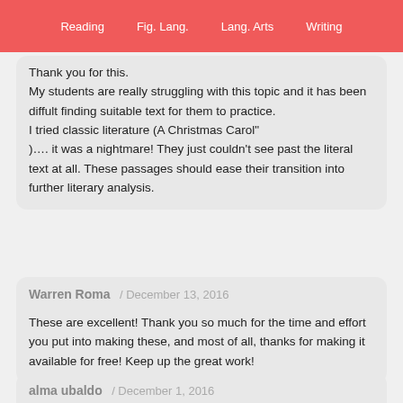Reading  Fig. Lang.  Lang. Arts  Writing
Thank you for this.
My students are really struggling with this topic and it has been diffult finding suitable text for them to practice.
I tried classic literature (A Christmas Carol"
)…. it was a nightmare! They just couldn't see past the literal text at all. These passages should ease their transition into further literary analysis.
Warren Roma / December 13, 2016

These are excellent! Thank you so much for the time and effort you put into making these, and most of all, thanks for making it available for free! Keep up the great work!
alma ubaldo / December 1, 2016

Thank you very much for sharing.. Keep it up! God bless you more with your good heart..